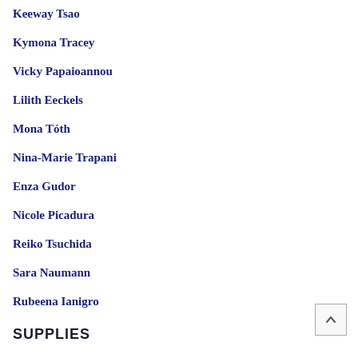Keeway Tsao
Kymona Tracey
Vicky Papaioannou
Lilith Eeckels
Mona Tóth
Nina-Marie Trapani
Enza Gudor
Nicole Picadura
Reiko Tsuchida
Sara Naumann
Rubeena Ianigro
SUPPLIES